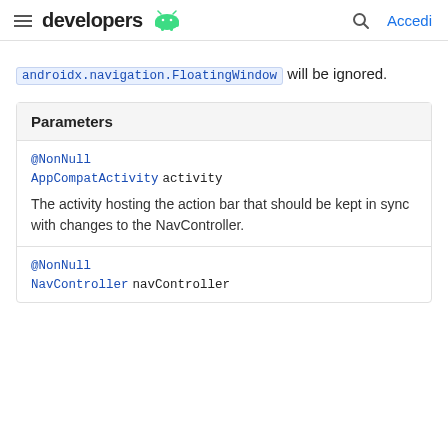developers | Accedi
androidx.navigation.FloatingWindow will be ignored.
Parameters
@NonNull
AppCompatActivity activity
The activity hosting the action bar that should be kept in sync with changes to the NavController.
@NonNull
NavController navController